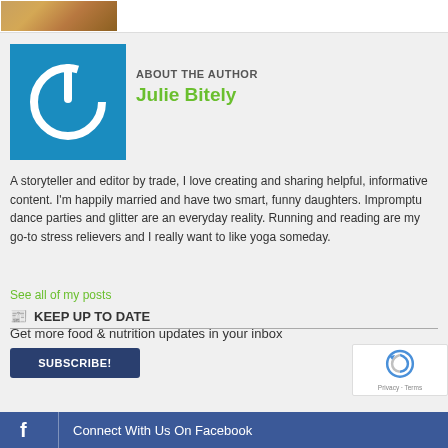[Figure (photo): Partial thumbnail of food image at top of page]
[Figure (logo): Blue square author icon with white power button symbol]
ABOUT THE AUTHOR
Julie Bitely
A storyteller and editor by trade, I love creating and sharing helpful, informative content. I'm happily married and have two smart, funny daughters. Impromptu dance parties and glitter are an everyday reality. Running and reading are my go-to stress relievers and I really want to like yoga someday.
See all of my posts
KEEP UP TO DATE
Get more food & nutrition updates in your inbox
SUBSCRIBE!
[Figure (logo): reCAPTCHA badge with Privacy and Terms links]
Connect With Us On Facebook